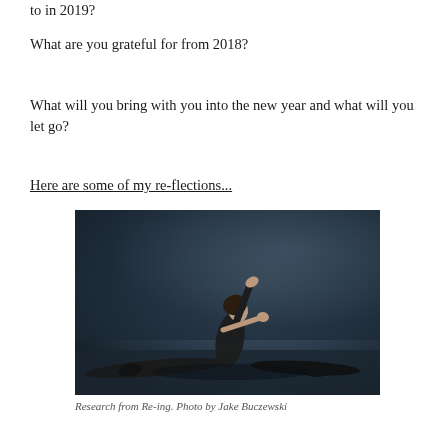to in 2019?
What are you grateful for from 2018?
What will you bring with you into the new year and what will you let go?
Here are some of my re-flections...
[Figure (photo): A dancer in a dramatic split pose against a concrete wall, black and white/dark toned photo, wearing black clothing]
Research from Re-ing. Photo by Jake Buczewski